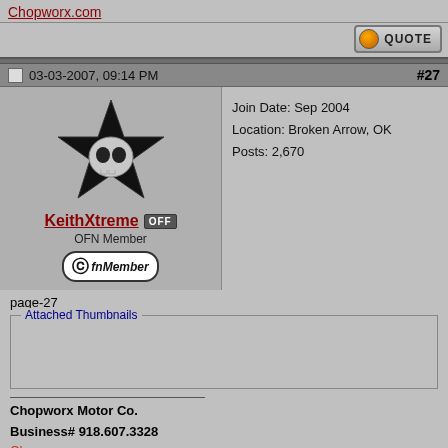Chopworx.com
[Figure (screenshot): QUOTE button with orange orb icon]
03-03-2007, 09:14 PM  #27
[Figure (illustration): Black star with skull avatar for KeithXtreme]
KeithXtreme [OFF]
OFN Member
fnMember
Join Date: Sep 2004
Location: Broken Arrow, OK
Posts: 2,670
page-27
Attached Thumbnails
Chopworx Motor Co.
Business# 918.607.3328
Chopworx.com
[Figure (screenshot): QUOTE button with orange orb icon]
03-03-2007, 09:15 PM  #28